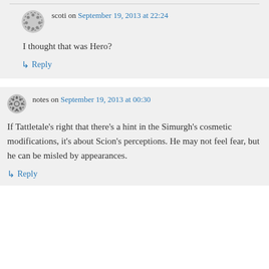scoti on September 19, 2013 at 22:24
I thought that was Hero?
↳ Reply
notes on September 19, 2013 at 00:30
If Tattletale's right that there's a hint in the Simurgh's cosmetic modifications, it's about Scion's perceptions. He may not feel fear, but he can be misled by appearances.
↳ Reply